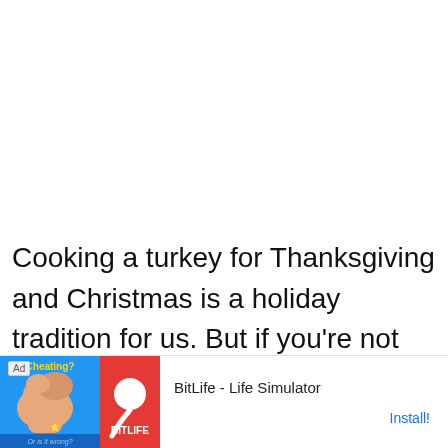Cooking a turkey for Thanksgiving and Christmas is a holiday tradition for us. But if you're not planning on feeding a crowd, cooking an entire turkey isn't necessary. A herb roasted turkey breast is a great option if you'll have a small guest list this holiday
[Figure (other): Advertisement banner for BitLife - Life Simulator app. Shows a cartoon muscle arm on blue background on the left, BitLife logo (sperm icon on red background) in center, app name 'BitLife - Life Simulator' and 'Install!' button on right.]